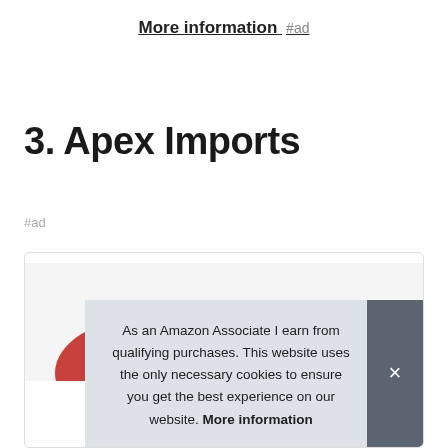More information #ad
3. Apex Imports
#ad
[Figure (screenshot): Card box with product image partially visible at bottom, overlaid by a cookie consent banner reading: As an Amazon Associate I earn from qualifying purchases. This website uses the only necessary cookies to ensure you get the best experience on our website. More information — with a dark grey close (×) button on the right.]